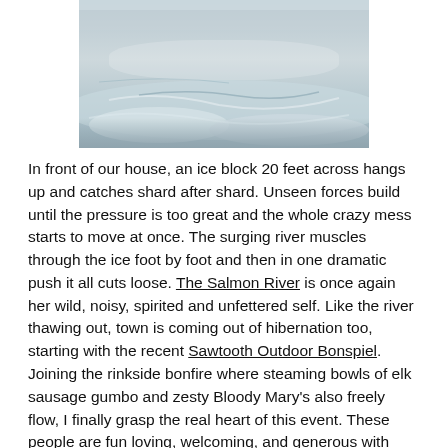[Figure (photo): Aerial or close-up photo of icy river water with grey-blue tones, showing ice floes and snow on water surface.]
In front of our house, an ice block 20 feet across hangs up and catches shard after shard. Unseen forces build until the pressure is too great and the whole crazy mess starts to move at once. The surging river muscles through the ice foot by foot and then in one dramatic push it all cuts loose. The Salmon River is once again her wild, noisy, spirited and unfettered self. Like the river thawing out, town is coming out of hibernation too, starting with the recent Sawtooth Outdoor Bonspiel. Joining the rinkside bonfire where steaming bowls of elk sausage gumbo and zesty Bloody Mary's also freely flow, I finally grasp the real heart of this event. These people are fun loving, welcoming, and generous with their time, talent, and treats. Post curling festivities continue beyond the rink to a